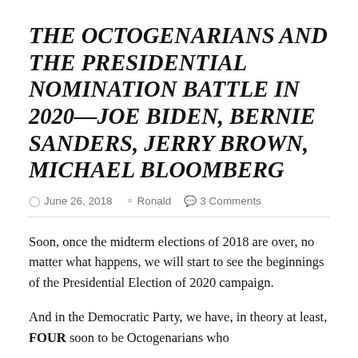THE OCTOGENARIANS AND THE PRESIDENTIAL NOMINATION BATTLE IN 2020—JOE BIDEN, BERNIE SANDERS, JERRY BROWN, MICHAEL BLOOMBERG
June 26, 2018   Ronald   3 Comments
Soon, once the midterm elections of 2018 are over, no matter what happens, we will start to see the beginnings of the Presidential Election of 2020 campaign.
And in the Democratic Party, we have, in theory at least, FOUR soon to be Octogenarians who